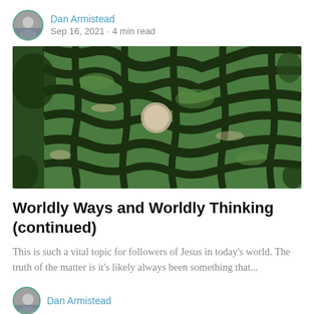Dan Armistead · Sep 16, 2021 · 4 min read
[Figure (photo): Aerial view of a green hedge maze/labyrinth with winding sandy paths, seen from above]
Worldly Ways and Worldly Thinking (continued)
This is such a vital topic for followers of Jesus in today's world. The truth of the matter is it's likely always been something that...
Dan Armistead